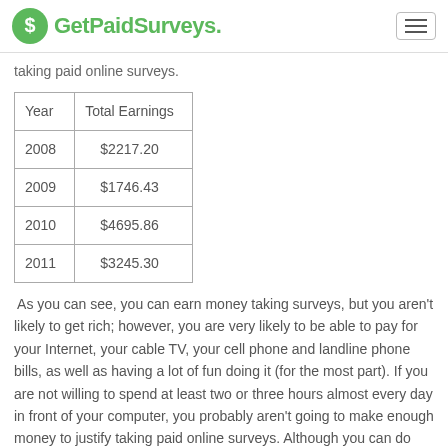GetPaidSurveys.
taking paid online surveys.
| Year | Total Earnings |
| --- | --- |
| 2008 | $2217.20 |
| 2009 | $1746.43 |
| 2010 | $4695.86 |
| 2011 | $3245.30 |
As you can see, you can earn money taking surveys, but you aren't likely to get rich; however, you are very likely to be able to pay for your Internet, your cable TV, your cell phone and landline phone bills, as well as having a lot of fun doing it (for the most part). If you are not willing to spend at least two or three hours almost every day in front of your computer, you probably aren't going to make enough money to justify taking paid online surveys. Although you can do quite well with just five to ten top